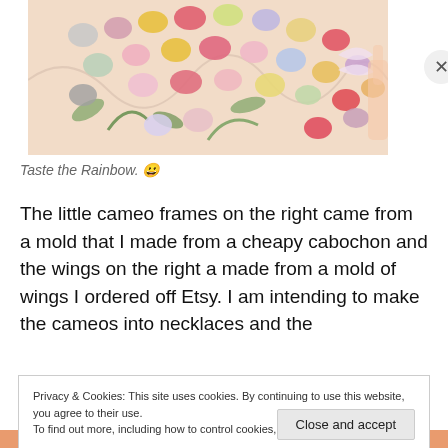[Figure (photo): Close-up photo of colorful oval and round cabochon pieces in various colors (pink, red, yellow, green, white, gray, gold) arranged on a floral patterned fabric background, with a hand visible on the right side.]
Taste the Rainbow. 😀
The little cameo frames on the right came from a mold that I made from a cheapy cabochon and the wings on the right a made from a mold of wings I ordered off Etsy. I am intending to make the cameos into necklaces and the
Privacy & Cookies: This site uses cookies. By continuing to use this website, you agree to their use.
To find out more, including how to control cookies, see here: Cookie Policy